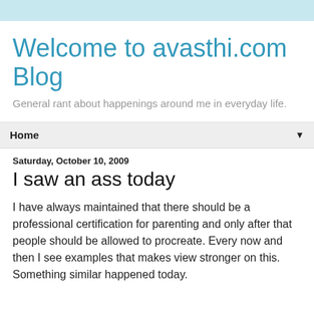Welcome to avasthi.com Blog
General rant about happenings around me in everyday life.
Home
Saturday, October 10, 2009
I saw an ass today
I have always maintained that there should be a professional certification for parenting and only after that people should be allowed to procreate. Every now and then I see examples that makes view stronger on this. Something similar happened today.